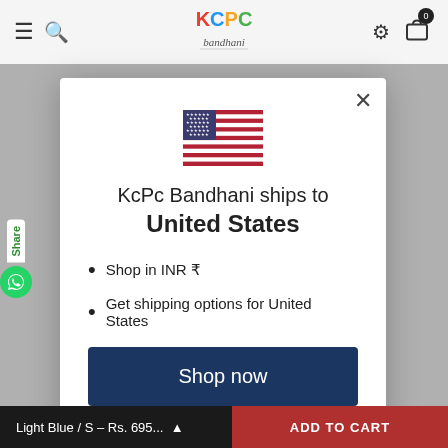[Figure (screenshot): KCPC Bandhani e-commerce website header with hamburger menu, search icon, logo, settings gear icon, and shopping cart with badge showing 0]
[Figure (illustration): United States flag emoji/icon centered in modal]
KcPc Bandhani ships to United States
Shop in INR ₹
Get shipping options for United States
Shop now
Change shipping country
Light Blue / S – Rs. 695...
ADD TO CART